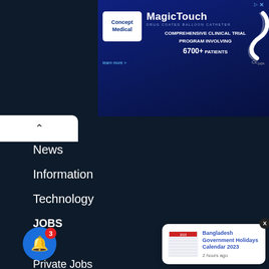[Figure (screenshot): Advertisement banner for Concept Medical MagicTouch product showing logo, brand name, and clinical trial information with 6700+ patients]
News
Information
Technology
JOBS
Jobs
Private Jobs
Bank Job
Jobs
ernment Jobs
[Figure (screenshot): Push notification popup showing Bangladesh Government Holidays Calendar 2023 with thumbnail image and timestamp '2 hours ago']